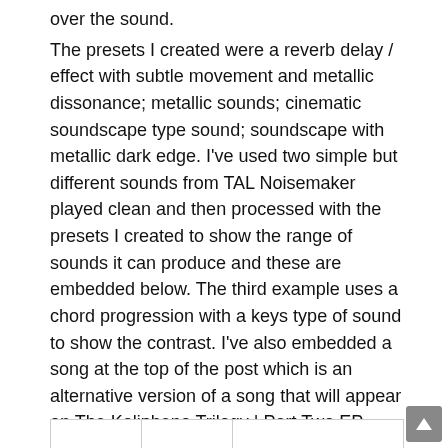over the sound. The presets I created were a reverb delay / effect with subtle movement and metallic dissonance; metallic sounds; cinematic soundscape type sound; soundscape with metallic dark edge. I've used two simple but different sounds from TAL Noisemaker played clean and then processed with the presets I created to show the range of sounds it can produce and these are embedded below. The third example uses a chord progression with a keys type of sound to show the contrast. I've also embedded a song at the top of the post which is an alternative version of a song that will appear on The Kalipheno Trilogy | Part Two EP. This uses samples from an upcoming sample pack “Kalipheno” that will be submitted for the KVR Developer’s Challenge. I've used these sounds in the U-Drone add-on of Sensomusic Usine Hollyhock II and processed them with Frostbite. I've also used Ephemere by Inear Display for the percussive rhythm and a separate review of this will follow.